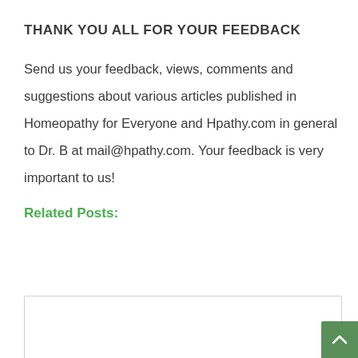THANK YOU ALL FOR YOUR FEEDBACK
Send us your feedback, views, comments and suggestions about various articles published in Homeopathy for Everyone and Hpathy.com in general to Dr. B at mail@hpathy.com. Your feedback is very important to us!
Related Posts: